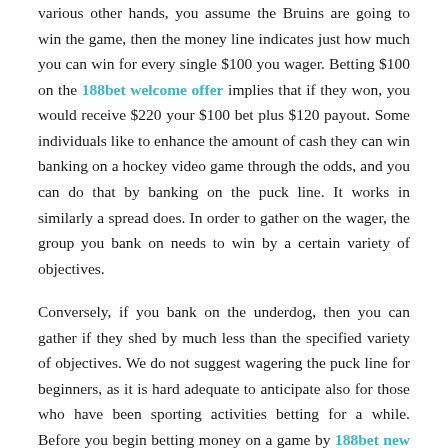various other hands, you assume the Bruins are going to win the game, then the money line indicates just how much you can win for every single $100 you wager. Betting $100 on the 188bet welcome offer implies that if they won, you would receive $220 your $100 bet plus $120 payout. Some individuals like to enhance the amount of cash they can win banking on a hockey video game through the odds, and you can do that by banking on the puck line. It works in similarly a spread does. In order to gather on the wager, the group you bank on needs to win by a certain variety of objectives.
Conversely, if you bank on the underdog, then you can gather if they shed by much less than the specified variety of objectives. We do not suggest wagering the puck line for beginners, as it is hard adequate to anticipate also for those who have been sporting activities betting for a while. Before you begin betting money on a game by 188bet new customer basis, it is an excellent concept to increase your knowledge of the video game. You can have the exhilaration of a wager plus enhance your understanding of the video game by signing up with a hockey pool with friends before going to the sporting activities books.